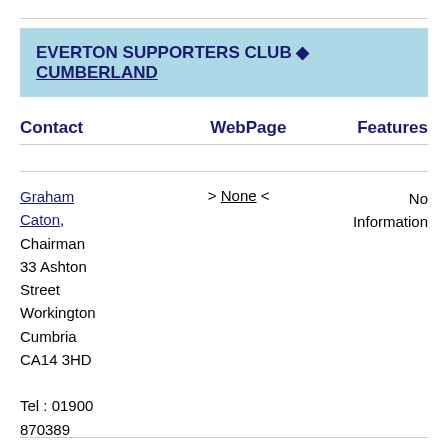EVERTON SUPPORTERS CLUB ◆ CUMBERLAND
| Contact | WebPage | Features |
| --- | --- | --- |
| Graham Caton, Chairman
33 Ashton Street
Workington
Cumbria
CA14 3HD

Tel : 01900 870389
Fax : 01900 602011 | > None < | No Information |